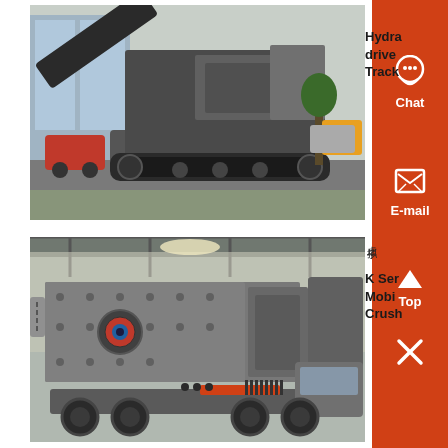[Figure (photo): Large tracked mobile crusher/screening machine parked in an industrial yard with cars and buildings visible in background. Machine is dark grey/black with crawler tracks.]
Hydraulic driven Track
[Figure (photo): K Series mobile crushing plant mounted on a truck/trailer, grey steel body with large jaw crusher visible, inside a warehouse/industrial building.]
K Series Mobile Crusher